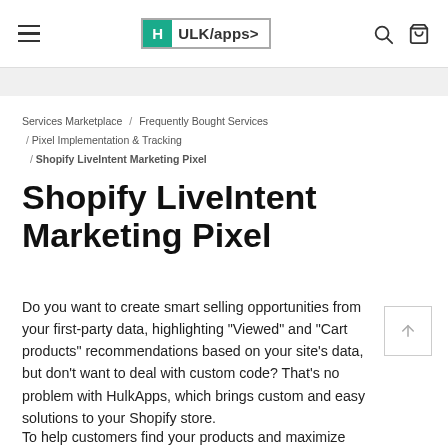HULKapps — navigation bar with hamburger menu, logo, search and cart icons
Services Marketplace / Frequently Bought Services / Pixel Implementation & Tracking / Shopify LiveIntent Marketing Pixel
Shopify LiveIntent Marketing Pixel
Do you want to create smart selling opportunities from your first-party data, highlighting "Viewed" and "Cart products" recommendations based on your site's data, but don't want to deal with custom code? That's no problem with HulkApps, which brings custom and easy solutions to your Shopify store.
To help customers find your products and maximize